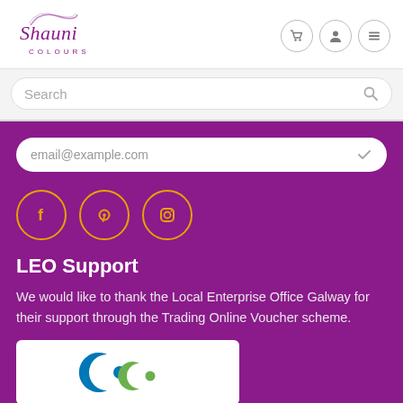[Figure (logo): Shauni Colours cursive logo with text COLOURS below]
[Figure (infographic): Navigation icons: shopping cart, user profile, hamburger menu in circular borders]
Search
email@example.com
[Figure (infographic): Three social media icons in orange circles: Facebook, Pinterest, Instagram]
LEO Support
We would like to thank the Local Enterprise Office Galway for their support through the Trading Online Voucher scheme.
[Figure (logo): Local Enterprise Office logo with blue and green C shapes]